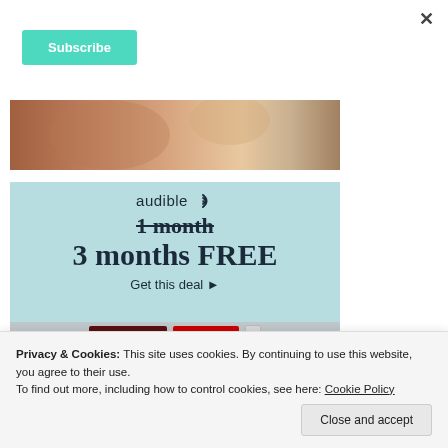×
Subscribe
[Figure (photo): Partial photo strip showing a person, warm tones]
[Figure (infographic): Audible advertisement: 1 month struck through, 3 months FREE, Get this deal arrow, bottom strip with book service logos]
Privacy & Cookies: This site uses cookies. By continuing to use this website, you agree to their use.
To find out more, including how to control cookies, see here: Cookie Policy
Close and accept